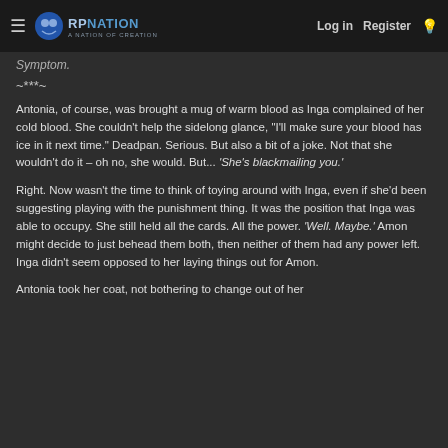RP Nation — Log in | Register
Symptom.
~***~
Antonia, of course, was brought a mug of warm blood as Inga complained of her cold blood. She couldn't help the sidelong glance, "I'll make sure your blood has ice in it next time." Deadpan. Serious. But also a bit of a joke. Not that she wouldn't do it – oh no, she would. But... 'She's blackmailing you.'
Right. Now wasn't the time to think of toying around with Inga, even if she'd been suggesting playing with the punishment thing. It was the position that Inga was able to occupy. She still held all the cards. All the power. 'Well. Maybe.' Amon might decide to just behead them both, then neither of them had any power left. Inga didn't seem opposed to her laying things out for Amon.
Antonia took her coat, not bothering to change out of her